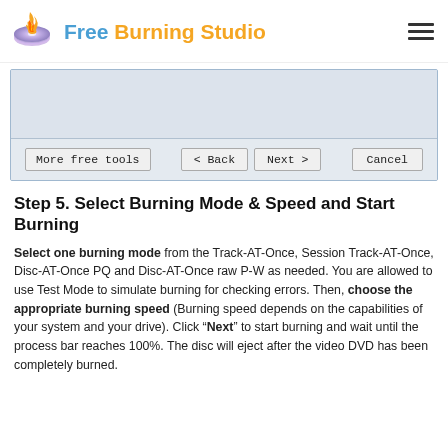Free Burning Studio
[Figure (screenshot): Screenshot of a software dialog window showing a burning wizard interface with a large empty content area and four buttons at the bottom: 'More free tools', '< Back', 'Next >', and 'Cancel'.]
Step 5. Select Burning Mode & Speed and Start Burning
Select one burning mode from the Track-AT-Once, Session Track-AT-Once, Disc-AT-Once PQ and Disc-AT-Once raw P-W as needed. You are allowed to use Test Mode to simulate burning for checking errors. Then, choose the appropriate burning speed (Burning speed depends on the capabilities of your system and your drive). Click “Next” to start burning and wait until the process bar reaches 100%. The disc will eject after the video DVD has been completely burned.